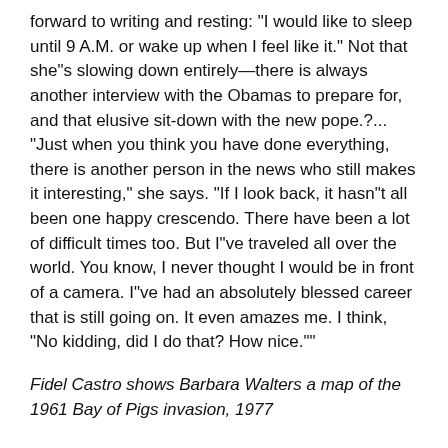forward to writing and resting: "I would like to sleep until 9 A.M. or wake up when I feel like it." Not that she"s slowing down entirely—there is always another interview with the Obamas to prepare for, and that elusive sit-down with the new pope.?... "Just when you think you have done everything, there is another person in the news who still makes it interesting," she says. "If I look back, it hasn"t all been one happy crescendo. There have been a lot of difficult times too. But I"ve traveled all over the world. You know, I never thought I would be in front of a camera. I"ve had an absolutely blessed career that is still going on. It even amazes me. I think, "No kidding, did I do that? How nice.""
Fidel Castro shows Barbara Walters a map of the 1961 Bay of Pigs invasion, 1977